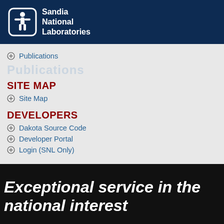[Figure (logo): Sandia National Laboratories logo: white rounded square icon with stylized human figure, followed by text 'Sandia National Laboratories' in white on dark blue background]
Publications
SITE MAP
Site Map
DEVELOPERS
Dakota Source Code
Developer Portal
Login (SNL Only)
Exceptional service in the national interest